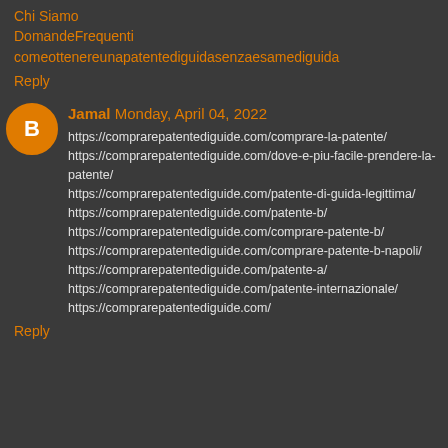Chi Siamo
DomandeFrequenti
comeottenereunapatentediguidasenzaesamediguida
Reply
Jamal Monday, April 04, 2022
https://comprarepatentediguide.com/comprare-la-patente/
https://comprarepatentediguide.com/dove-e-piu-facile-prendere-la-patente/
https://comprarepatentediguide.com/patente-di-guida-legittima/
https://comprarepatentediguide.com/patente-b/
https://comprarepatentediguide.com/comprare-patente-b/
https://comprarepatentediguide.com/comprare-patente-b-napoli/
https://comprarepatentediguide.com/patente-a/
https://comprarepatentediguide.com/patente-internazionale/
https://comprarepatentediguide.com/
Reply